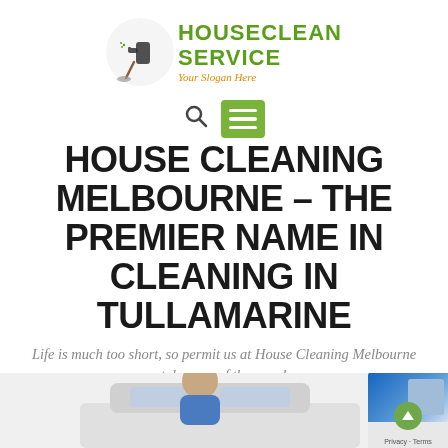[Figure (logo): HouseClean Service logo with cleaning supply icon, green bold text reading HOUSECLEAN SERVICE and orange italic slogan Your Slogan Here]
[Figure (screenshot): Website navigation bar with search icon and green hamburger menu button]
HOUSE CLEANING MELBOURNE – THE PREMIER NAME IN CLEANING IN TULLAMARINE
Life is much too short, so permit us at House Cleaning Melbourne take care of the mess!
[Figure (photo): Partial photo of a person near a car at the bottom of the page, and a privacy/terms badge in the bottom right corner]